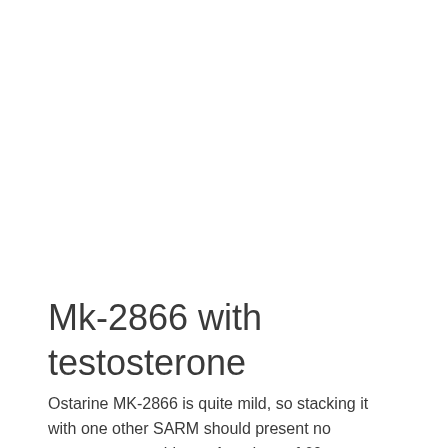Mk-2866 with testosterone
Ostarine MK-2866 is quite mild, so stacking it with one other SARM should present no testosterone problems. At a dose of 60mg, a 40-lb woman would need 2-3 years to break